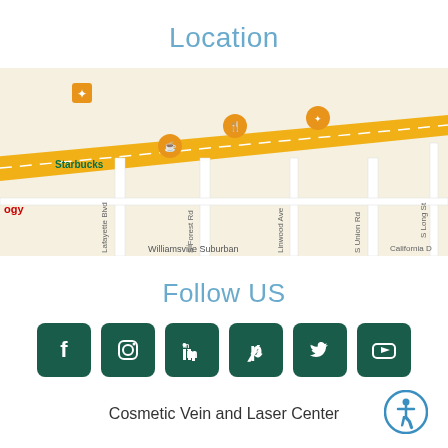Location
[Figure (map): Google Maps screenshot showing Williamsville Suburban area with streets including S Forest Rd, Linwood Ave, S Union Rd, S Long St, California Dr, Los Robles St, Milton St, S Cayuga Rd, Pasadena Pl, Lafayette Blvd. Orange map pins mark Starbucks, restaurant, and Panera Bread locations. A diagonal yellow highway runs through the map.]
Follow US
[Figure (infographic): Six dark green square social media icon buttons: Facebook, Instagram, LinkedIn, Pinterest, Twitter, YouTube]
Cosmetic Vein and Laser Center
[Figure (logo): Accessibility icon — blue circle with white wheelchair user symbol]